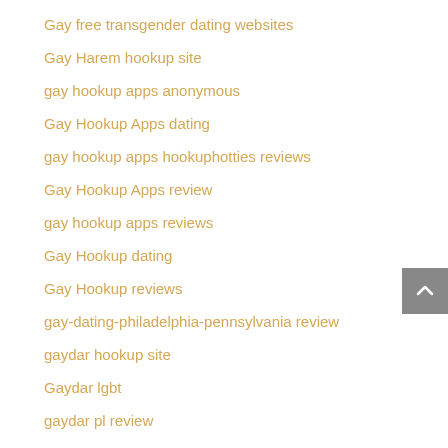Gay free transgender dating websites
Gay Harem hookup site
gay hookup apps anonymous
Gay Hookup Apps dating
gay hookup apps hookuphotties reviews
Gay Hookup Apps review
gay hookup apps reviews
Gay Hookup dating
Gay Hookup reviews
gay-dating-philadelphia-pennsylvania review
gaydar hookup site
Gaydar lgbt
gaydar pl review
Gaydar visitors
gayroyaldating.de freunde